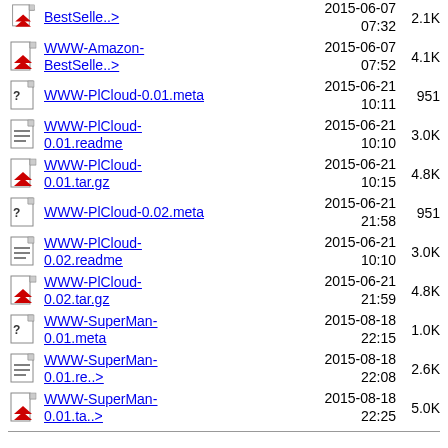BestSelle..> 2015-06-07 07:32 2.1K
WWW-Amazon-BestSelle..> 2015-06-07 07:52 4.1K
WWW-PlCloud-0.01.meta 2015-06-21 10:11 951
WWW-PlCloud-0.01.readme 2015-06-21 10:10 3.0K
WWW-PlCloud-0.01.tar.gz 2015-06-21 10:15 4.8K
WWW-PlCloud-0.02.meta 2015-06-21 21:58 951
WWW-PlCloud-0.02.readme 2015-06-21 10:10 3.0K
WWW-PlCloud-0.02.tar.gz 2015-06-21 21:59 4.8K
WWW-SuperMan-0.01.meta 2015-08-18 22:15 1.0K
WWW-SuperMan-0.01.re..> 2015-08-18 22:08 2.6K
WWW-SuperMan-0.01.ta..> 2015-08-18 22:25 5.0K